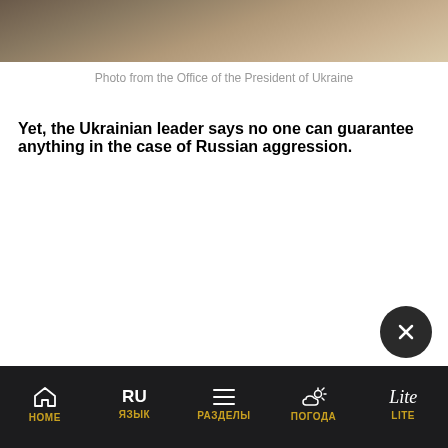[Figure (photo): Partial photo showing people, appears to be from the Office of the President of Ukraine, cropped at top]
Photo from the Office of the President of Ukraine
Yet, the Ukrainian leader says no one can guarantee anything in the case of Russian aggression.
HOME  ЯЗЫК  РАЗДЕЛЫ  ПОГОДА  LITE